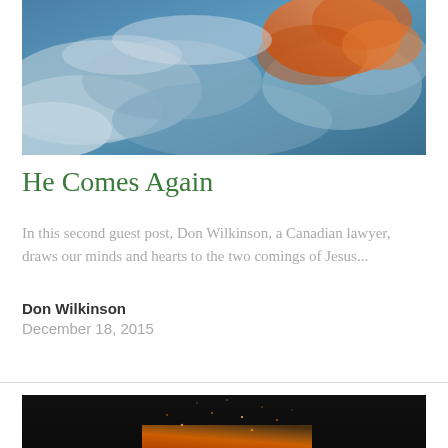[Figure (photo): Dramatic sky photo with blue-teal clouds and orange-red light in upper right]
He Comes Again
In this second guest post, Don Wilkinson, a Canadian lawyer, draws our minds and hearts to the two comings of Jesus...
Don Wilkinson
December 18, 2015
[Figure (photo): Dark image with fire/embers at bottom, sparks flying upward against black background]